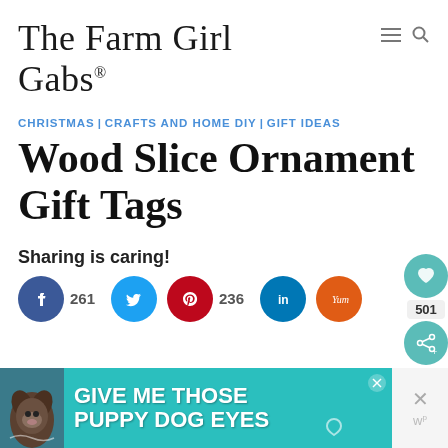The Farm Girl Gabs®
CHRISTMAS | CRAFTS AND HOME DIY | GIFT IDEAS
Wood Slice Ornament Gift Tags
Sharing is caring!
261 (Facebook shares) 236 (Pinterest shares)
[Figure (screenshot): Advertisement banner: GIVE ME THOSE PUPPY DOG EYES with a dog image on teal background]
WHAT'S NEXT → Ribbon Tree Ornaments